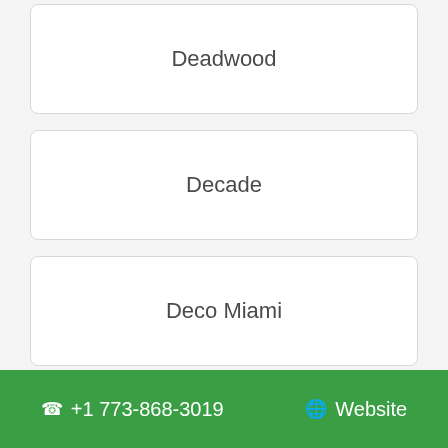Deadwood
Decade
Deco Miami
DedCool
Degen
📞 +1 773-868-3019    🌐 Website